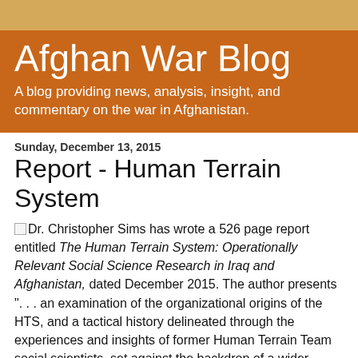Afghan War Blog
A blog providing news, analysis, insight, and commentary on the war in Afghanistan.
Sunday, December 13, 2015
Report - Human Terrain System
Dr. Christopher Sims has wrote a 526 page report entitled The Human Terrain System: Operationally Relevant Social Science Research in Iraq and Afghanistan, dated December 2015. The author presents ". . . an examination of the organizational origins of the HTS, and a tactical history delineated through the experiences and insights of former Human Terrain Team social scientists, set against the backdrop of a wider debate in the academy and media on the efficacy and ethicality of the program." The provides an overview of the HTS program and examines the wider debate around social science and the military. This study of